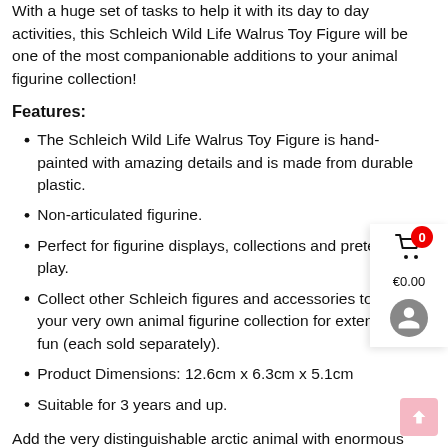With a huge set of tasks to help it with its day to day activities, this Schleich Wild Life Walrus Toy Figure will be one of the most companionable additions to your animal figurine collection!
Features:
The Schleich Wild Life Walrus Toy Figure is hand-painted with amazing details and is made from durable plastic.
Non-articulated figurine.
Perfect for figurine displays, collections and pretend play.
Collect other Schleich figures and accessories to have your very own animal figurine collection for extended fun (each sold separately).
Product Dimensions: 12.6cm x 6.3cm x 5.1cm
Suitable for 3 years and up.
Add the very distinguishable arctic animal with enormous